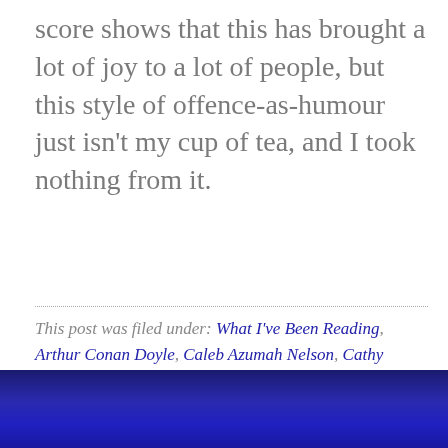score shows that this has brought a lot of joy to a lot of people, but this style of offence-as-humour just isn't my cup of tea, and I took nothing from it.
This post was filed under: What I've Been Reading, Arthur Conan Doyle, Caleb Azumah Nelson, Cathy Rentzenbrink, Frankie Boyle, John Grindrod, Lily King, Slavoj Žižek.